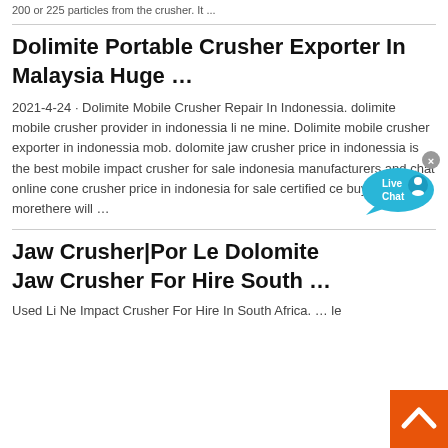200 or 225 particles from the crusher. It ...
Dolimite Portable Crusher Exporter In Malaysia Huge …
2021-4-24 · Dolimite Mobile Crusher Repair In Indonessia. dolimite mobile crusher provider in indonessia li ne mine. Dolimite mobile crusher exporter in indonessia mob. dolomite jaw crusher price in indonessia is the best mobile impact crusher for sale indonesia manufacturers and chat online cone crusher price in indonesia for sale certified ce buy qua morethere will …
Jaw Crusher|Por Le Dolomite Jaw Crusher For Hire South …
Used Li Ne Impact Crusher For Hire In South Africa. … le